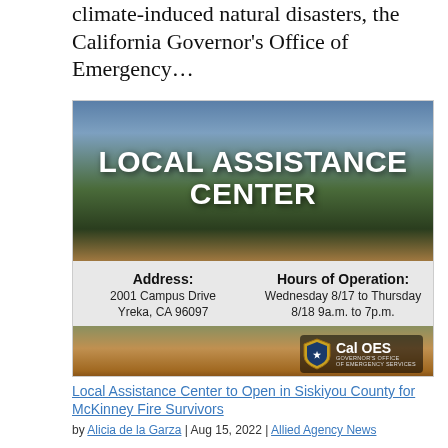climate-induced natural disasters, the California Governor's Office of Emergency…
[Figure (infographic): Local Assistance Center promotional image with mountain landscape background. Shows 'LOCAL ASSISTANCE CENTER' title in white text over mountain photo. Below: Address: 2001 Campus Drive, Yreka, CA 96097 | Hours of Operation: Wednesday 8/17 to Thursday 8/18 9a.m. to 7p.m. Cal OES logo in bottom right.]
Local Assistance Center to Open in Siskiyou County for McKinney Fire Survivors
by Alicia de la Garza | Aug 15, 2022 | Allied Agency News
The California Governor's Office of Emergency Services (Cal OES), in partnership with local, state, and federal agencies, will open a Local